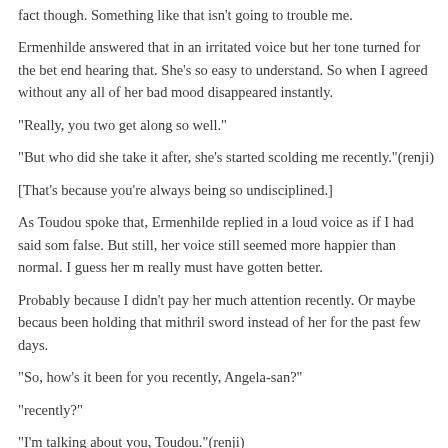fact though. Something like that isn't going to trouble me.
Ermenhilde answered that in an irritated voice but her tone turned for the better end hearing that. She's so easy to understand. So when I agreed without any all of her bad mood disappeared instantly.
“Really, you two get along so well.”
“But who did she take it after, she’s started scolding me recently.”(renji)
[That’s because you’re always being so undisciplined.]
As Toudou spoke that, Ermenhilde replied in a loud voice as if I had said something false. But still, her voice still seemed more happier than normal. I guess her mood really must have gotten better.
Probably because I didn’t pay her much attention recently. Or maybe because I’ve been holding that mithril sword instead of her for the past few days.
“So, how’s it been for you recently, Angela-san?”
“recently?”
“I’m talking about you, Toudou.”(renji)
When I said that while laughing, Toudou simply tilted his head in confusion behind him, Angela-san narrowed her eyes without letting Toudou realize.